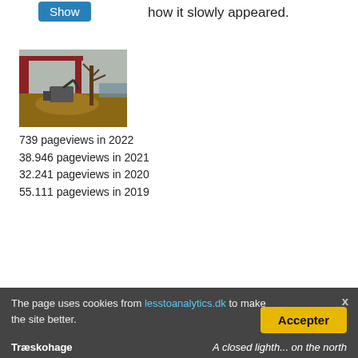how it slowly appeared.
[Figure (photo): Construction site photo showing excavation work near a bridge with a digger and bare trees]
739 pageviews in 2022
38.946 pageviews in 2021
32.241 pageviews in 2020
55.111 pageviews in 2019
[Figure (illustration): Row of flag icons: Danish flag, German flag, UK flag]
The page uses cookies from lesstoanalytics.dk to make the site better.
Træskohage
A closed lighth... on the north